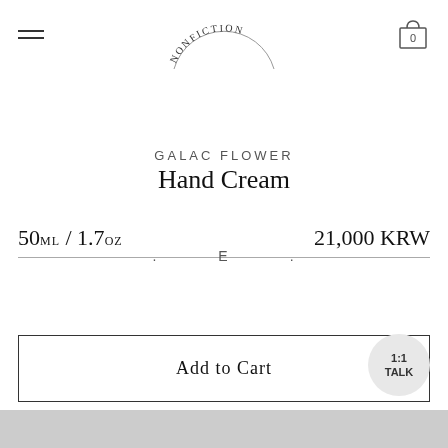[Figure (logo): Nonfiction brand logo — semicircular arc with the text NONFICTION arranged along the top of the arc, serif lettering, minimalist style]
GALAC FLOWER Hand Cream
50ML / 1.7OZ   21,000 KRW
. E .
Add to Cart
1:1 TALK